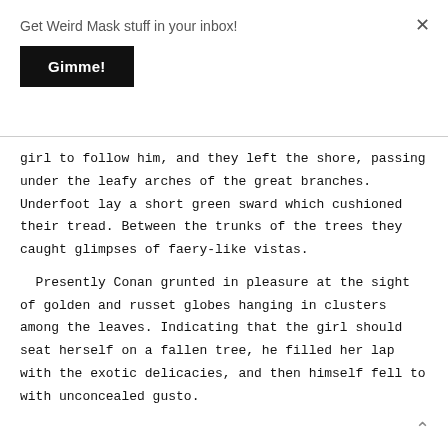Get Weird Mask stuff in your inbox!
Gimme!
girl to follow him, and they left the shore, passing under the leafy arches of the great branches. Underfoot lay a short green sward which cushioned their tread. Between the trunks of the trees they caught glimpses of faery-like vistas.

 Presently Conan grunted in pleasure at the sight of golden and russet globes hanging in clusters among the leaves. Indicating that the girl should seat herself on a fallen tree, he filled her lap with the exotic delicacies, and then himself fell to with unconcealed gusto.